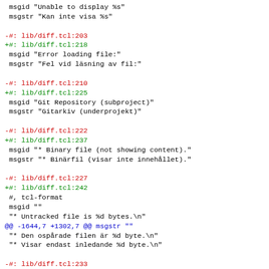msgid "Unable to display %s"
 msgstr "Kan inte visa %s"

-#: lib/diff.tcl:203
+#: lib/diff.tcl:218
 msgid "Error loading file:"
 msgstr "Fel vid läsning av fil:"

-#: lib/diff.tcl:210
+#: lib/diff.tcl:225
 msgid "Git Repository (subproject)"
 msgstr "Gitarkiv (underprojekt)"

-#: lib/diff.tcl:222
+#: lib/diff.tcl:237
 msgid "* Binary file (not showing content)."
 msgstr "* Binärfil (visar inte innehållet)."

-#: lib/diff.tcl:227
+#: lib/diff.tcl:242
 #, tcl-format
 msgid ""
 "* Untracked file is %d bytes.\n"
@@ -1644,7 +1302,7 @@ msgstr ""
 "* Den ospårade filen är %d byte.\n"
 "* Visar endast inledande %d byte.\n"

-#: lib/diff.tcl:233
+#: lib/diff.tcl:248
 #, tcl-format